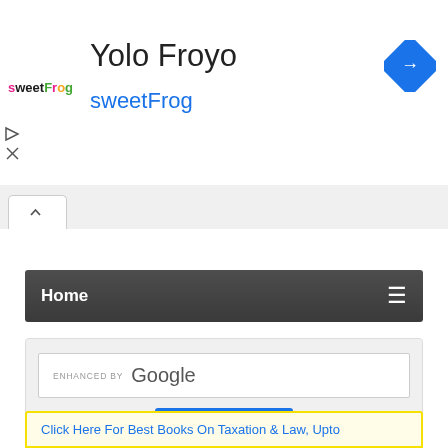[Figure (screenshot): sweetFrog logo - colorful text]
Yolo Froyo
sweetFrog
[Figure (other): Blue diamond navigation/turn arrow icon]
[Figure (other): Play and X side icons]
[Figure (other): Active browser tab with chevron up icon]
Home ≡
ENHANCED BY Google
Go
Click Here For Best Books On Taxation & Law, Upto